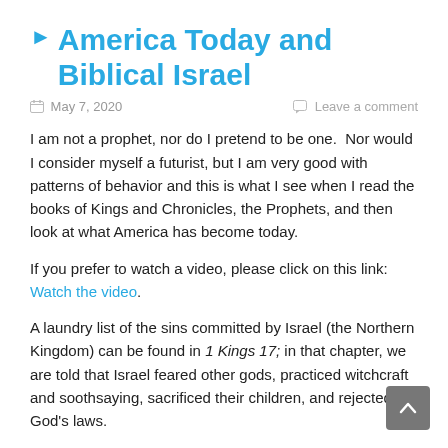America Today and Biblical Israel
May 7, 2020   Leave a comment
I am not a prophet, nor do I pretend to be one.  Nor would I consider myself a futurist, but I am very good with patterns of behavior and this is what I see when I read the books of Kings and Chronicles, the Prophets, and then look at what America has become today.
If you prefer to watch a video, please click on this link: Watch the video.
A laundry list of the sins committed by Israel (the Northern Kingdom) can be found in 1 Kings 17; in that chapter, we are told that Israel feared other gods, practiced witchcraft and soothsaying, sacrificed their children, and rejected God's laws.
Despite being warned by the prophets, over and over again,